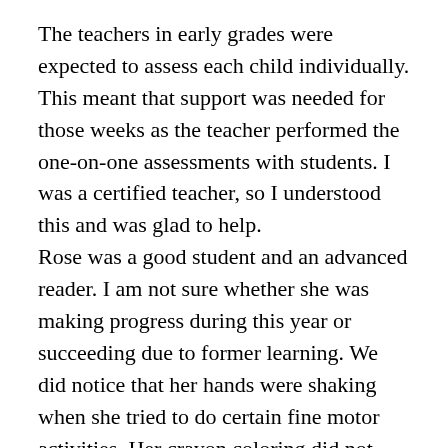The teachers in early grades were expected to assess each child individually. This meant that support was needed for those weeks as the teacher performed the one-on-one assessments with students. I was a certified teacher, so I understood this and was glad to help. Rose was a good student and an advanced reader. I am not sure whether she was making progress during this year or succeeding due to former learning. We did notice that her hands were shaking when she tried to do certain fine motor activities. Her crayon coloring did not stay inside the lines. Her drawings were sloppier than they used to be. She also had some hearing difficulties. Her hearing was